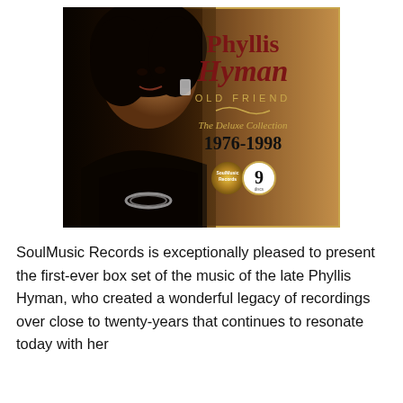[Figure (illustration): Album cover for Phyllis Hyman 'Old Friend – The Deluxe Collection 1976-1998'. Features a glamorous portrait photo of Phyllis Hyman in black, with decorative earrings. Text includes artist name in dark red serif font, album title 'OLD FRIEND' in gold spaced caps, subtitle 'The Deluxe Collection 1976-1998', SoulMusic Records badge, and a '9' disc count badge. Gold border frame.]
SoulMusic Records is exceptionally pleased to present the first-ever box set of the music of the late Phyllis Hyman, who created a wonderful legacy of recordings over close to twenty-years that continues to resonate today with her